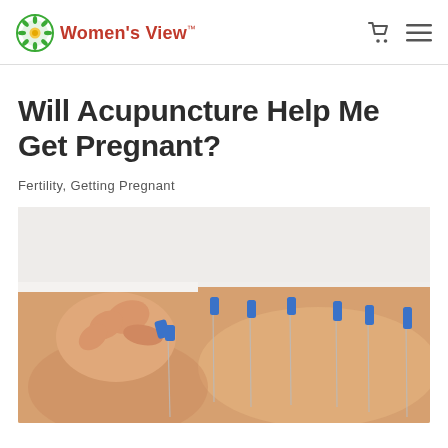Women's View
Will Acupuncture Help Me Get Pregnant?
Fertility, Getting Pregnant
[Figure (photo): A close-up photograph of someone inserting blue-capped acupuncture needles into a person's lower back/skin, with multiple needles already placed.]